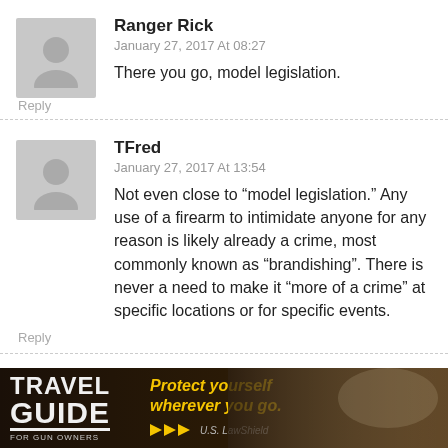Ranger Rick
January 27, 2017 At 08:27
There you go, model legislation.
Reply
TFred
January 27, 2017 At 13:54
Not even close to “model legislation.” Any use of a firearm to intimidate anyone for any reason is likely already a crime, most commonly known as “brandishing”. There is never a need to make it “more of a crime” at specific locations or for specific events.
Reply
[Figure (photo): Travel Guide for Gun Owners advertisement banner with text 'Protect yourself wherever you go.' and U.S. LawShield logo]